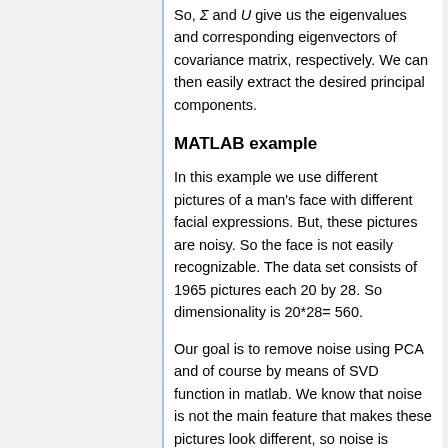So, Σ and U give us the eigenvalues and corresponding eigenvectors of covariance matrix, respectively. We can then easily extract the desired principal components.
MATLAB example
In this example we use different pictures of a man's face with different facial expressions. But, these pictures are noisy. So the face is not easily recognizable. The data set consists of 1965 pictures each 20 by 28. So dimensionality is 20*28= 560.
Our goal is to remove noise using PCA and of course by means of SVD function in matlab. We know that noise is not the main feature that makes these pictures look different, so noise is among least variance components. We first extract